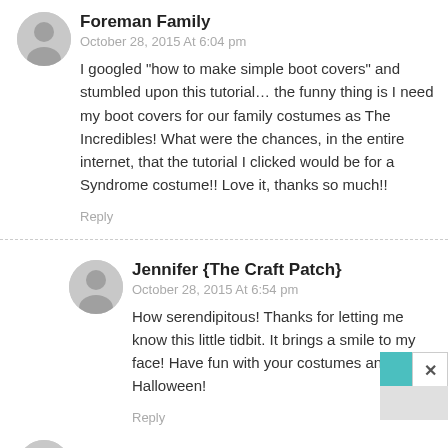Foreman Family
October 28, 2015 At 6:04 pm
I googled "how to make simple boot covers" and stumbled upon this tutorial… the funny thing is I need my boot covers for our family costumes as The Incredibles! What were the chances, in the entire internet, that the tutorial I clicked would be for a Syndrome costume!! Love it, thanks so much!!
Reply
Jennifer {The Craft Patch}
October 28, 2015 At 6:54 pm
How serendipitous! Thanks for letting me know this little tidbit. It brings a smile to my face! Have fun with your costumes and happy Halloween!
Reply
Trina